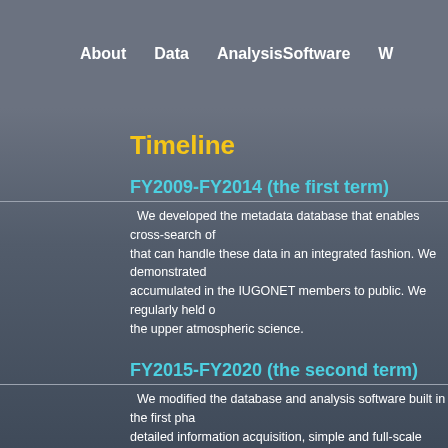About   Data   AnalysisSoftware   W
Timeline
FY2009-FY2014 (the first term)
We developed the metadata database that enables cross-search of that can handle these data in an integrated fashion. We demonstrated accumulated in the IUGONET members to public. We regularly held c the upper atmospheric science.
FY2015-FY2020 (the second term)
We modified the database and analysis software built in the first pha detailed information acquisition, simple and full-scale analysis. We ha fields. We held many domestic, oversea, and online analysis worksho researchers.
FY2021
We will continue our activities in the second phase, canacity buildi...